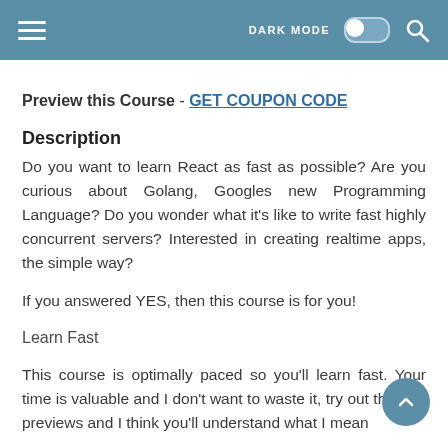DARK MODE [toggle] [search]
Preview this Course - GET COUPON CODE
Description
Do you want to learn React as fast as possible? Are you curious about Golang, Googles new Programming Language? Do you wonder what it's like to write fast highly concurrent servers? Interested in creating realtime apps, the simple way?
If you answered YES, then this course is for you!
Learn Fast
This course is optimally paced so you'll learn fast. Your time is valuable and I don't want to waste it, try out the free previews and I think you'll understand what I mean